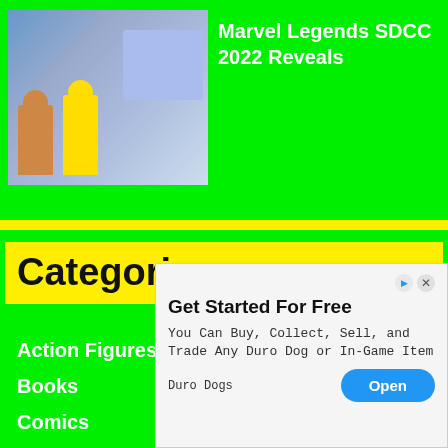[Figure (photo): Thumbnail photo of Marvel Legends action figures at SDCC 2022, showing costumed figures on a convention floor with a blue banner in the background.]
Marvel Legends SDCC 2022 Reveals
Categories
Action Figures/ Toys
Books
Comics
Events
Ga...
Ho...
[Figure (screenshot): Advertisement overlay: 'Get Started For Free' — You Can Buy, Collect, Sell, and Trade Any Duro Dog or In-Game Item. Source: Duro Dogs. Open button.]